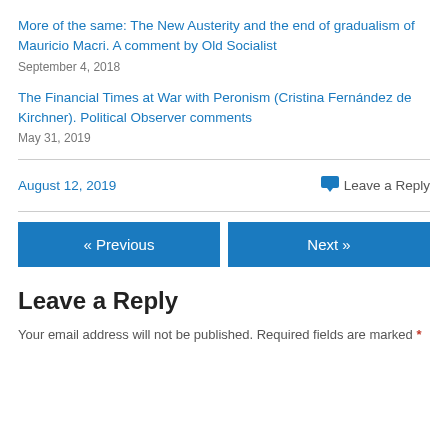More of the same: The New Austerity and the end of gradualism of Mauricio Macri. A comment by Old Socialist
September 4, 2018
The Financial Times at War with Peronism (Cristina Fernández de Kirchner). Political Observer comments
May 31, 2019
August 12, 2019
Leave a Reply
Leave a Reply
Your email address will not be published. Required fields are marked *